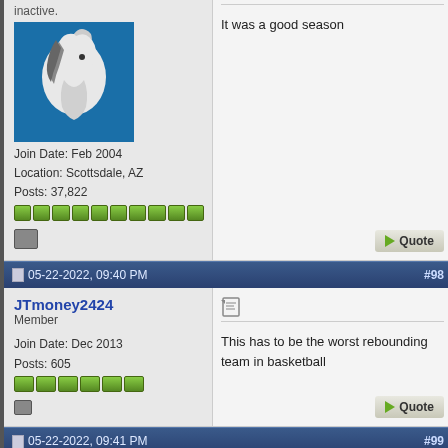inactive.
[Figure (logo): Dallas Mavericks avatar logo - horse head on blue background]
Join Date: Feb 2004
Location: Scottsdale, AZ
Posts: 37,822
It was a good season
05-22-2022, 09:40 PM  #98
JTmoney2424
Member
Join Date: Dec 2013
Posts: 605
This has to be the worst rebounding team in basketball
05-22-2022, 09:41 PM  #99
BPo001
Diamond Member
Join Date: May 2008
Location: Texas
Posts: 6,227
This game is over.